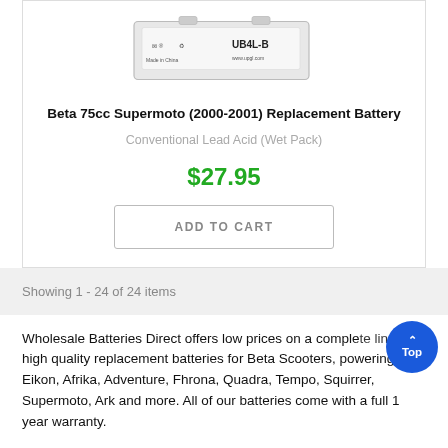[Figure (photo): Product photo of a UB4L-B battery made in China, white label with certifications and UPG logo]
Beta 75cc Supermoto (2000-2001) Replacement Battery
Conventional Lead Acid (Wet Pack)
$27.95
ADD TO CART
Showing 1 - 24 of 24 items
Wholesale Batteries Direct offers low prices on a complete line of high quality replacement batteries for Beta Scooters, powering your Eikon, Afrika, Adventure, Fhrona, Quadra, Tempo, Squirrer, Supermoto, Ark and more. All of our batteries come with a full 1 year warranty.